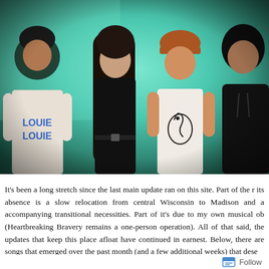[Figure (photo): Four young people standing together against a green/teal lit background. From left: a person in a white 'LOUIE LOUIE' t-shirt and dark beanie; a woman in a black outfit with long hair; a person in a white t-shirt with a graphic print and an orange/brown cap; a person in a dark hoodie on the far right. The image has a teal/green color cast.]
It's been a long stretch since the last main update ran on this site. Part of the r its absence is a slow relocation from central Wisconsin to Madison and a accompanying transitional necessities. Part of it's due to my own musical ob (Heartbreaking Bravery remains a one-person operation). All of that said, the updates that keep this place afloat have continued in earnest. Below, there are songs that emerged over the past month (and a few additional weeks) that dese